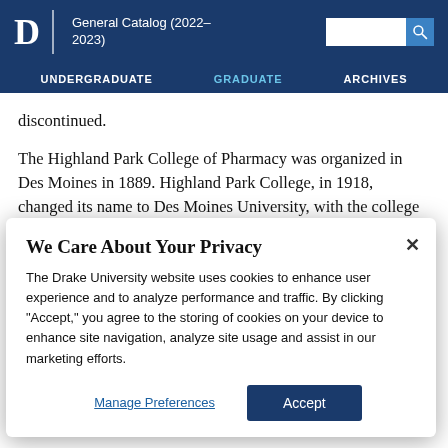D | General Catalog (2022–2023)
UNDERGRADUATE | GRADUATE | ARCHIVES
discontinued.
The Highland Park College of Pharmacy was organized in Des Moines in 1889. Highland Park College, in 1918, changed its name to Des Moines University, with the college of pharmacy continuing as an integral part of the...
We Care About Your Privacy
The Drake University website uses cookies to enhance user experience and to analyze performance and traffic. By clicking "Accept," you agree to the storing of cookies on your device to enhance site navigation, analyze site usage and assist in our marketing efforts.
Manage Preferences   Accept